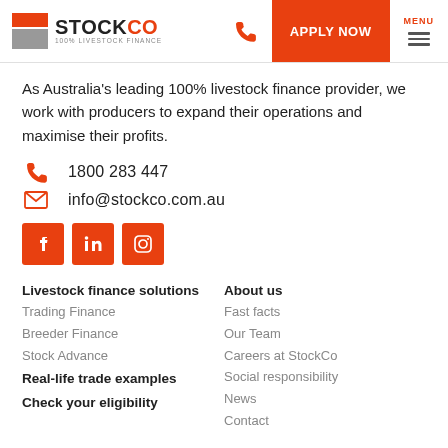STOCKCO | 100% LIVESTOCK FINANCE | APPLY NOW | MENU
As Australia's leading 100% livestock finance provider, we work with producers to expand their operations and maximise their profits.
1800 283 447
info@stockco.com.au
[Figure (other): Social media buttons: Facebook, LinkedIn, Instagram]
Livestock finance solutions
Trading Finance
Breeder Finance
Stock Advance
Real-life trade examples
Check your eligibility
About us
Fast facts
Our Team
Careers at StockCo
Social responsibility
News
Contact